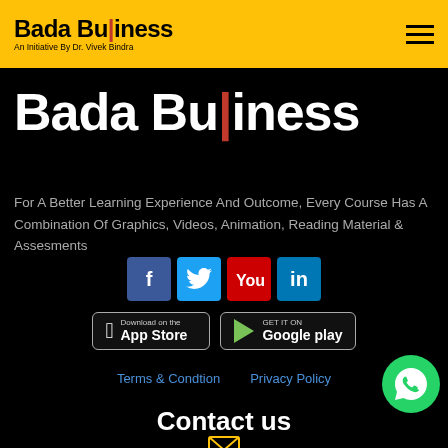Bada Business - An Initiative By Dr. Vivek Bindra
Bada Business
For A Better Learning Experience And Outcome, Every Course Has A Combination Of Graphics, Videos, Animation, Reading Material & Assesments
[Figure (logo): Social media icons: Facebook, Twitter, YouTube, LinkedIn]
[Figure (logo): App store download buttons: App Store and Google Play]
Terms & Condtion   Privacy Policy
[Figure (logo): WhatsApp contact button]
Contact us
[Figure (illustration): Email envelope icon]